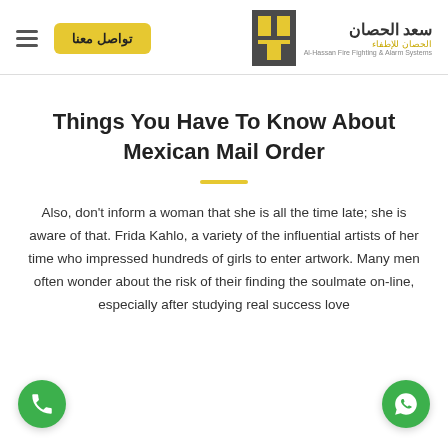سعد الحصان | Al-Hassan Fire Fighting & Alarm Systems — navigation header with contact button and logo
Things You Have To Know About Mexican Mail Order
Also, don't inform a woman that she is all the time late; she is aware of that. Frida Kahlo, a variety of the influential artists of her time who impressed hundreds of girls to enter artwork. Many men often wonder about the risk of their finding the soulmate on-line, especially after studying real success love